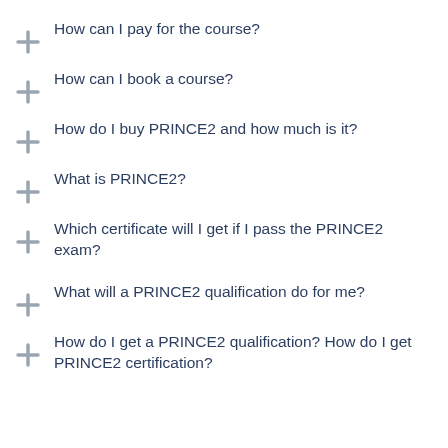How can I pay for the course?
How can I book a course?
How do I buy PRINCE2 and how much is it?
What is PRINCE2?
Which certificate will I get if I pass the PRINCE2 exam?
What will a PRINCE2 qualification do for me?
How do I get a PRINCE2 qualification? How do I get PRINCE2 certification?